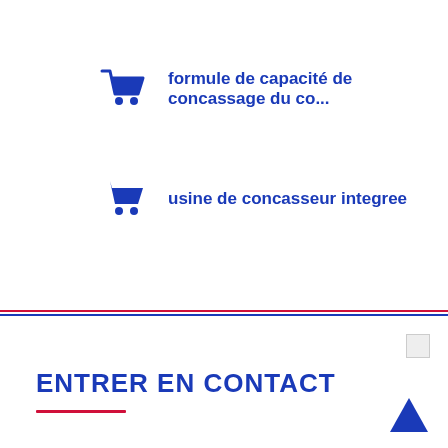formule de capacité de concassage du co...
usine de concasseur integree
ENTRER EN CONTACT